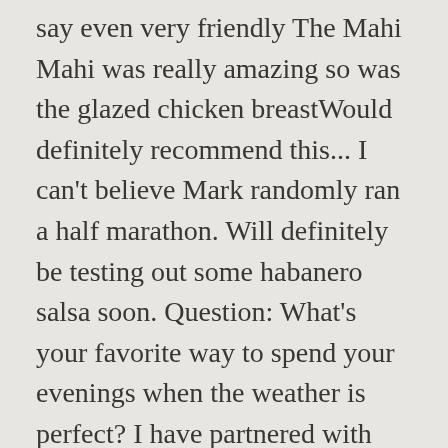say even very friendly The Mahi Mahi was really amazing so was the glazed chicken breastWould definitely recommend this... I can't believe Mark randomly ran a half marathon. Will definitely be testing out some habanero salsa soon. Question: What's your favorite way to spend your evenings when the weather is perfect? I have partnered with LA VICTORIA® in celebration of their 100th Anniversary to share this easy dish using their mango habanero salsa. Let me be your guide to a practical, straight-forward, and maintainable approach to a healthy lifestyle. . What You Need. But not just any salmon. Enjoy! Spread the puree evenly over the fish. This is such a unique salsa that I think could be used a LOT of